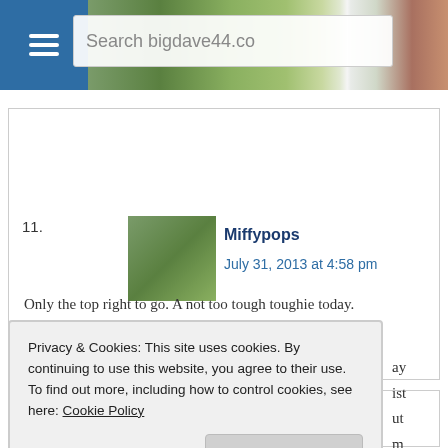Search bigdave44.co
11. Miffypops — July 31, 2013 at 4:58 pm — Only the top right to go. A not too tough toughie today.
12. KiwiColin
Privacy & Cookies: This site uses cookies. By continuing to use this website, you agree to their use. To find out more, including how to control cookies, see here: Cookie Policy
Close and accept